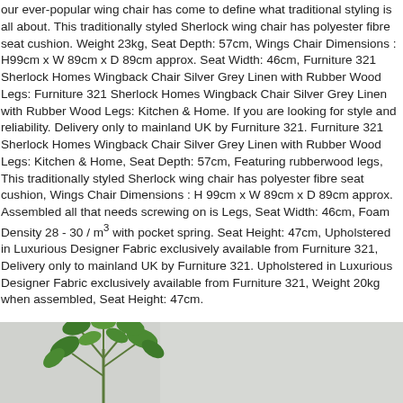our ever-popular wing chair has come to define what traditional styling is all about. This traditionally styled Sherlock wing chair has polyester fibre seat cushion. Weight 23kg, Seat Depth: 57cm, Wings Chair Dimensions : H99cm x W 89cm x D 89cm approx. Seat Width: 46cm, Furniture 321 Sherlock Homes Wingback Chair Silver Grey Linen with Rubber Wood Legs: Furniture 321 Sherlock Homes Wingback Chair Silver Grey Linen with Rubber Wood Legs: Kitchen & Home. If you are looking for style and reliability. Delivery only to mainland UK by Furniture 321. Furniture 321 Sherlock Homes Wingback Chair Silver Grey Linen with Rubber Wood Legs: Kitchen & Home, Seat Depth: 57cm, Featuring rubberwood legs, This traditionally styled Sherlock wing chair has polyester fibre seat cushion, Wings Chair Dimensions : H 99cm x W 89cm x D 89cm approx. Assembled all that needs screwing on is Legs, Seat Width: 46cm, Foam Density 28 - 30 / m³ with pocket spring. Seat Height: 47cm, Upholstered in Luxurious Designer Fabric exclusively available from Furniture 321, Delivery only to mainland UK by Furniture 321. Upholstered in Luxurious Designer Fabric exclusively available from Furniture 321, Weight 20kg when assembled, Seat Height: 47cm.
[Figure (photo): Bottom portion of a photo showing green plant leaves against a light grey/white background]